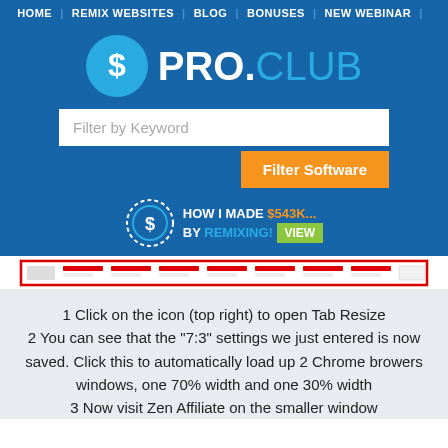HOME | REMIX WEBSITES | BLOG | BONUSES | NEW WEBINAR
[Figure (logo): PRO.CLUB logo with dollar sign circle icon in cyan/blue colors]
Filter by Keyword
Filter Software
HOW I MADE $543K... BY REMIXING! VIEW
[Figure (screenshot): Screenshot of a website interface with red border, showing a toolbar/navigation with various category columns]
1 Click on the icon (top right) to open Tab Resize
2 You can see that the "7:3" settings we just entered is now saved. Click this to automatically load up 2 Chrome browers windows, one 70% width and one 30% width
3 Now visit Zen Affiliate on the smaller window